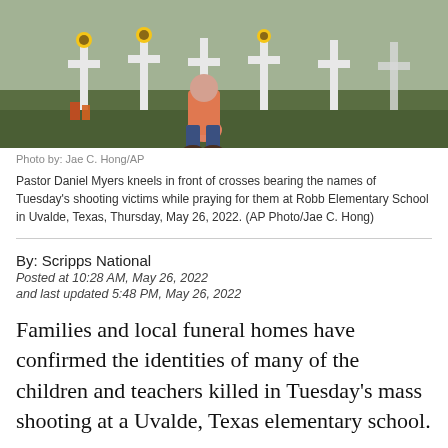[Figure (photo): Pastor Daniel Myers kneeling in front of memorial crosses in a field, with sunflowers and candles visible. Photo credit: Jae C. Hong/AP]
Photo by: Jae C. Hong/AP
Pastor Daniel Myers kneels in front of crosses bearing the names of Tuesday's shooting victims while praying for them at Robb Elementary School in Uvalde, Texas, Thursday, May 26, 2022. (AP Photo/Jae C. Hong)
By: Scripps National
Posted at 10:28 AM, May 26, 2022
and last updated 5:48 PM, May 26, 2022
Families and local funeral homes have confirmed the identities of many of the children and teachers killed in Tuesday’s mass shooting at a Uvalde, Texas elementary school.